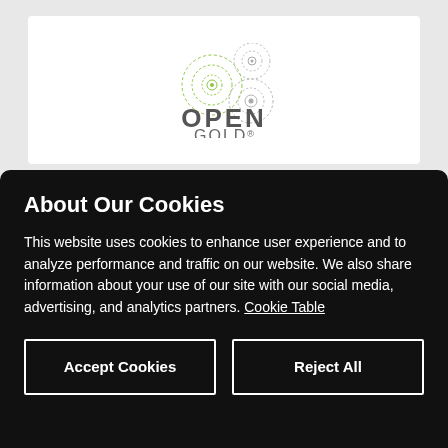[Figure (logo): Open Gold logo with three gear/dot-circle icons in green and grey above the text OPEN GOLD]
About Our Cookies
This website uses cookies to enhance user experience and to analyze performance and traffic on our website. We also share information about your use of our site with our social media, advertising, and analytics partners. Cookie Table
Accept Cookies
Reject All